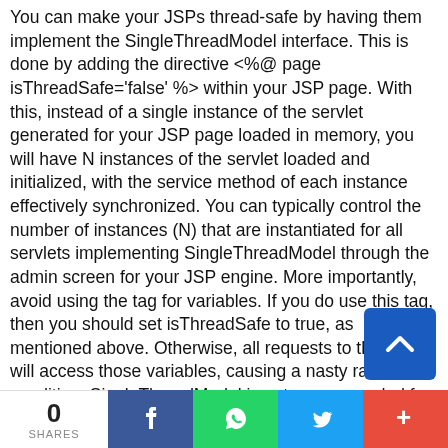You can make your JSPs thread-safe by having them implement the SingleThreadModel interface. This is done by adding the directive <%@ page isThreadSafe='false' %> within your JSP page. With this, instead of a single instance of the servlet generated for your JSP page loaded in memory, you will have N instances of the servlet loaded and initialized, with the service method of each instance effectively synchronized. You can typically control the number of instances (N) that are instantiated for all servlets implementing SingleThreadModel through the admin screen for your JSP engine. More importantly, avoid using the tag for variables. If you do use this tag, then you should set isThreadSafe to true, as mentioned above. Otherwise, all requests to that page will access those variables, causing a nasty race condition. SingleThreadModel is not recommended for normal use. There are many pitfalls including the example above of not being able to %>. You should try really hard to make them thre...